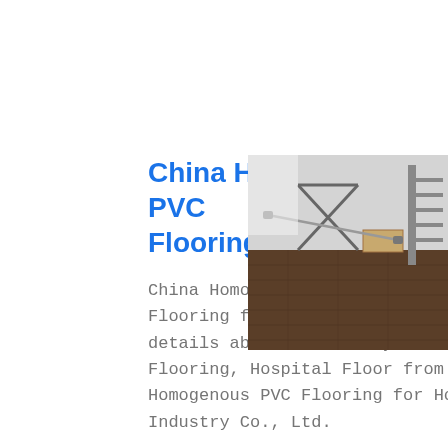China Homogenous PVC Flooring for Hospitals
[Figure (photo): Photo of a gym or rehabilitation facility interior showing exercise equipment and dark wood-patterned PVC flooring, photographed from a low angle.]
China Homogenous PVC Flooring for Hospitals, Find details about China Vinyl Flooring, Hospital Floor from Homogenous PVC Flooring for Hospitals - Industry Co., Ltd.
Get price